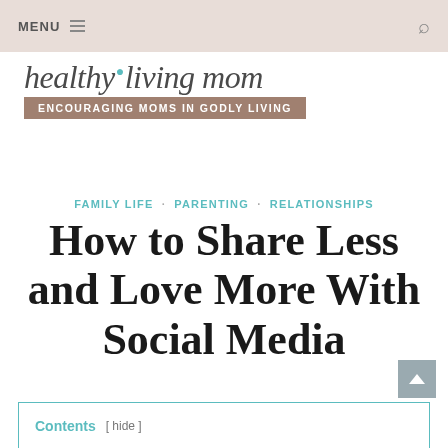MENU  ≡   [search icon]
[Figure (logo): Healthy Living Mom logo with script text 'healthy living mom' and tagline banner 'ENCOURAGING MOMS IN GODLY LIVING']
FAMILY LIFE · PARENTING · RELATIONSHIPS
How to Share Less and Love More With Social Media
Contents  [ hide ]